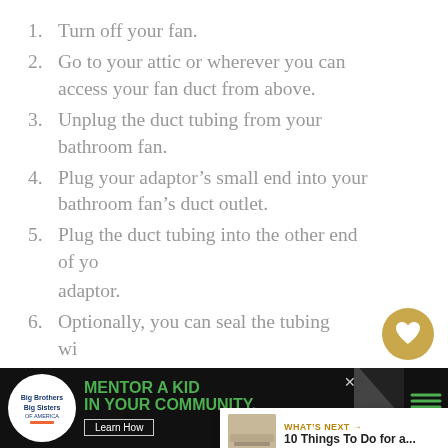1. Turn off your fan.
2. Go to your attic or wherever you can access your fan duct from above.
3. Unplug the duct tubing from your bathroom fan.
4. Plug your adaptor’s small end into your bathroom fan’s duct outlet.
5. Plug the duct tubing into the other end of your adaptor.
6. Optionally, you can seal the tubing with duct tape.
[Figure (infographic): Advertisement banner: Big Brothers Big Sisters logo, green text 'MENTOR A KID IN YOUR COMMUNITY', Learn How button, diagonal stripe pattern, and weather icon]
[Figure (infographic): UI overlay: gold heart button, share button with count 2, and What's Next panel showing '10 Things To Do for a...']